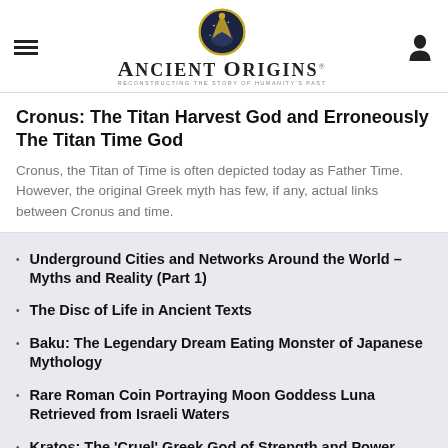Ancient Origins – Reconstructing the story of humanity's past
Cronus: The Titan Harvest God and Erroneously The Titan Time God
Cronus, the Titan of Time is often depicted today as Father Time. However, the original Greek myth has few, if any, actual links between Cronus and time.
Underground Cities and Networks Around the World – Myths and Reality (Part 1)
The Disc of Life in Ancient Texts
Baku: The Legendary Dream Eating Monster of Japanese Mythology
Rare Roman Coin Portraying Moon Goddess Luna Retrieved from Israeli Waters
Kratos: The 'Cruel' Greek God of Strength and Power